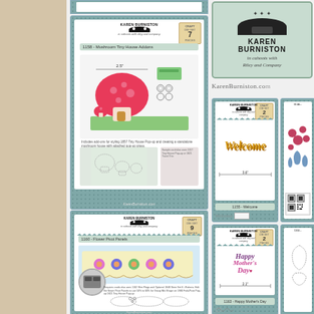[Figure (photo): Karen Burniston product catalog page showing die-cut craft product packaging. Multiple product cards displayed: 1158 Mushroom Tiny House Addons (top left card with mushroom house pop-up card example), 1160 Flower Pivot Panels (bottom left card with flower accordion card), 1155 Welcome (right top card with Welcome script die), 1163 Happy Mother's Day (right bottom card with Happy Mother's Day layered die). Karen Burniston logo in top right with 'in cahoots with Riley and Company' and KarenBurniston.com URL. Background is beige/tan on left side with gray dotted product cards.]